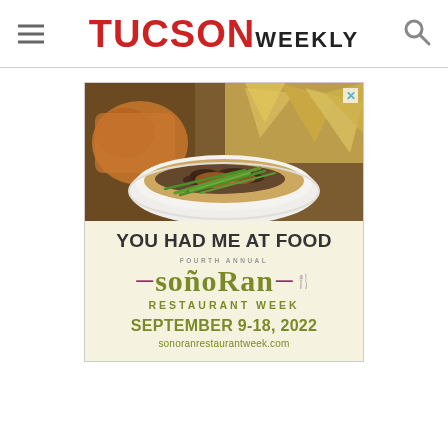TUCSON WEEKLY
[Figure (photo): Food photo showing a white bowl with queso/bean dip topped with green onions and meat, with tortilla chips in the background. Part of Sonoran Restaurant Week advertisement.]
[Figure (infographic): Sonoran Restaurant Week advertisement. Text reads: YOU HAD ME AT FOOD / FOURTH ANNUAL / SONORAN / RESTAURANT WEEK / SEPTEMBER 9-18, 2022 / sonoranrestaurantweek.com]